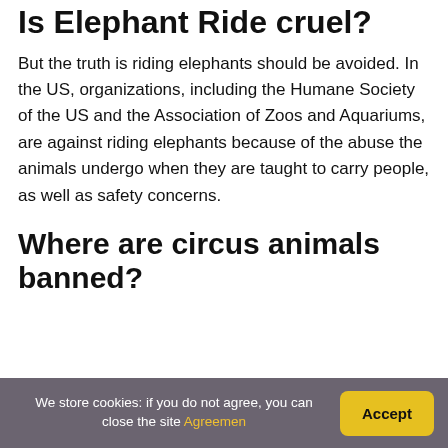Is Elephant Ride cruel?
But the truth is riding elephants should be avoided. In the US, organizations, including the Humane Society of the US and the Association of Zoos and Aquariums, are against riding elephants because of the abuse the animals undergo when they are taught to carry people, as well as safety concerns.
Where are circus animals banned?
We store cookies: if you do not agree, you can close the site Agreemen